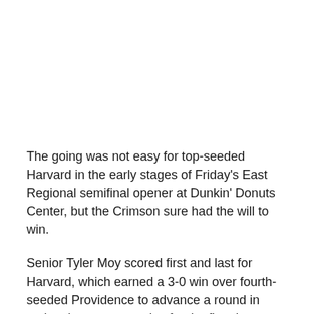The going was not easy for top-seeded Harvard in the early stages of Friday's East Regional semifinal opener at Dunkin' Donuts Center, but the Crimson sure had the will to win.
Senior Tyler Moy scored first and last for Harvard, which earned a 3-0 win over fourth-seeded Providence to advance a round in national postseason play for the first time since 1994.